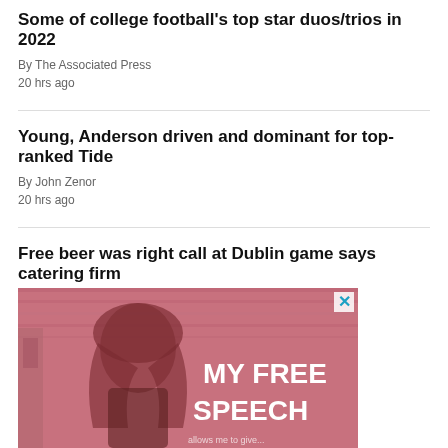Some of college football's top star duos/trios in 2022
By The Associated Press
20 hrs ago
Young, Anderson driven and dominant for top-ranked Tide
By John Zenor
20 hrs ago
Free beer was right call at Dublin game says catering firm
By Ken Maguire
23 hrs ago
[Figure (photo): Advertisement image showing a woman with text 'MY FREE SPEECH' overlaid on a pink-toned background]